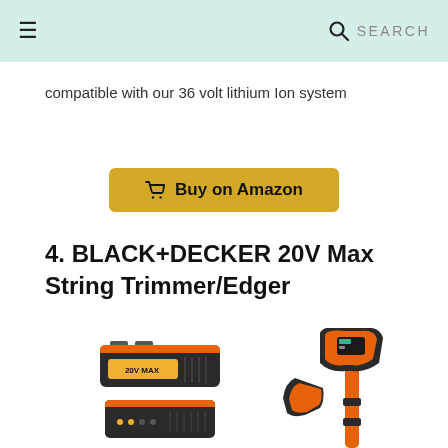☰   SEARCH
compatible with our 36 volt lithium Ion system
[Figure (other): Buy on Amazon button with cart icon]
4. BLACK+DECKER 20V Max String Trimmer/Edger
[Figure (photo): BLACK+DECKER 20V Max String Trimmer/Edger product image showing battery pack, charger, and the orange and black string trimmer tool]